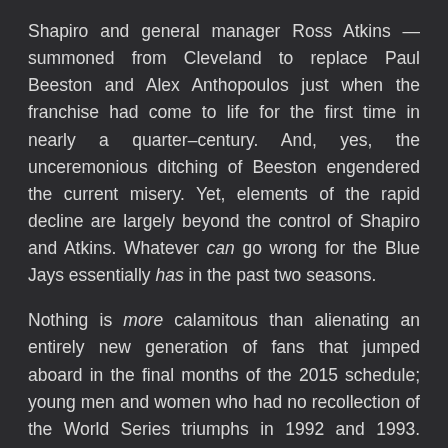Shapiro and general manager Ross Atkins — summoned from Cleveland to replace Paul Beeston and Alex Anthopoulos just when the franchise had come to life for the first time in nearly a quarter–century. And, yes, the unceremonious ditching of Beeston engendered the current misery. Yet, elements of the rapid decline are largely beyond the control of Shapiro and Atkins. Whatever can go wrong for the Blue Jays essentially has in the past two seasons.
Nothing is more calamitous than alienating an entirely new generation of fans that jumped aboard in the final months of the 2015 schedule; young men and women who had no recollection of the World Series triumphs in 1992 and 1993. When the Blue Jays first became competitive, in their seventh Major League season (1983), a full decade of hope (mixed with acute disappointment) led to the consecutive titles. The club was in contention virtually